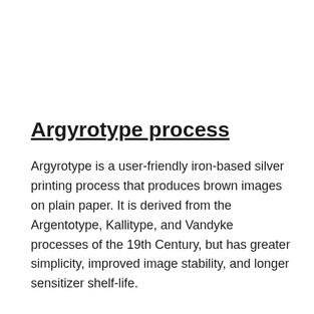Argyrotype process
Argyrotype is a user-friendly iron-based silver printing process that produces brown images on plain paper. It is derived from the Argentotype, Kallitype, and Vandyke processes of the 19th Century, but has greater simplicity, improved image stability, and longer sensitizer shelf-life.
Kallitypes & vandykes